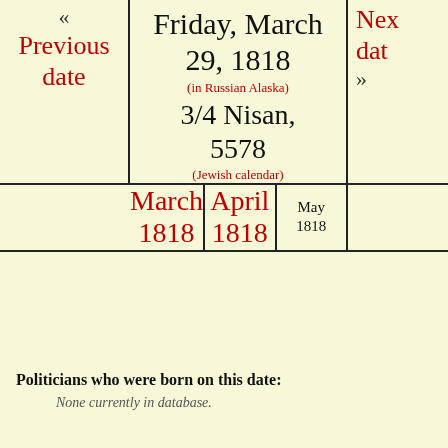« Previous date
Friday, March 29, 1818 (in Russian Alaska) 3/4 Nisan, 5578 (Jewish calendar)
Nex date »
March 1818 | April 1818 | May 1818
Politicians who were born on this date:
None currently in database.